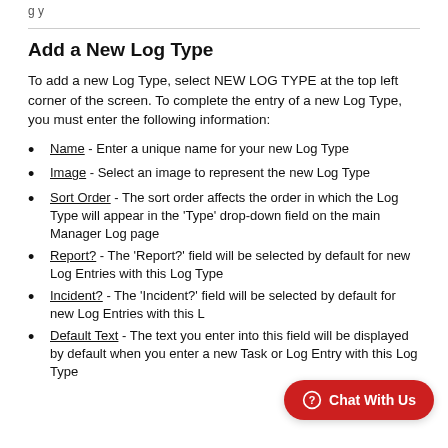...y...
Add a New Log Type
To add a new Log Type, select NEW LOG TYPE at the top left corner of the screen. To complete the entry of a new Log Type, you must enter the following information:
Name - Enter a unique name for your new Log Type
Image - Select an image to represent the new Log Type
Sort Order - The sort order affects the order in which the Log Type will appear in the 'Type' drop-down field on the main Manager Log page
Report? - The 'Report?' field will be selected by default for new Log Entries with this Log Type
Incident? - The 'Incident?' field will be selected by default for new Log Entries with this Log Type
Default Text - The text you enter into this field will be displayed by default when you enter a new Task or Log Entry with this Log Type